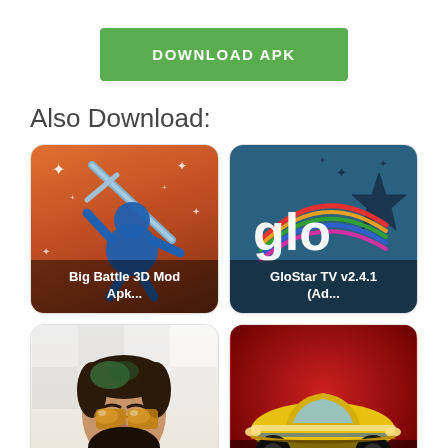[Figure (other): Green DOWNLOAD APK button]
Also Download:
[Figure (screenshot): Big Battle 3D Mod Apk... app icon with stickman holding sword on orange background]
[Figure (screenshot): GloStar TV v2.4.1 (Ad... app icon with Glo logo and star on teal background]
[Figure (screenshot): Beard Photo Editor -... app icon with cartoon bearded man with sunglasses]
[Figure (screenshot): Asphalt 8 Mod Apk Free... app icon with yellow racing car on red background]